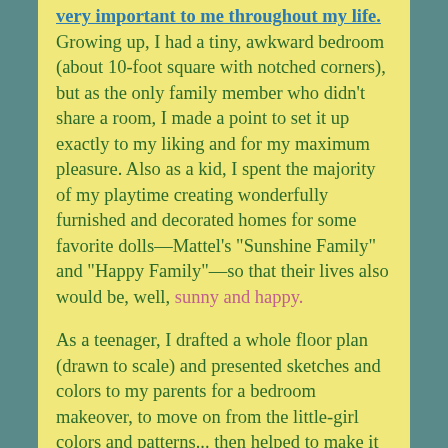very important to me throughout my life. Growing up, I had a tiny, awkward bedroom (about 10-foot square with notched corners), but as the only family member who didn't share a room, I made a point to set it up exactly to my liking and for my maximum pleasure. Also as a kid, I spent the majority of my playtime creating wonderfully furnished and decorated homes for some favorite dolls—Mattel's "Sunshine Family" and "Happy Family"—so that their lives also would be, well, sunny and happy.
As a teenager, I drafted a whole floor plan (drawn to scale) and presented sketches and colors to my parents for a bedroom makeover, to move on from the little-girl colors and patterns... then helped to make it happen. Also at a young age, I often helped my mother position furniture in various rooms, choose paint and rug colors,